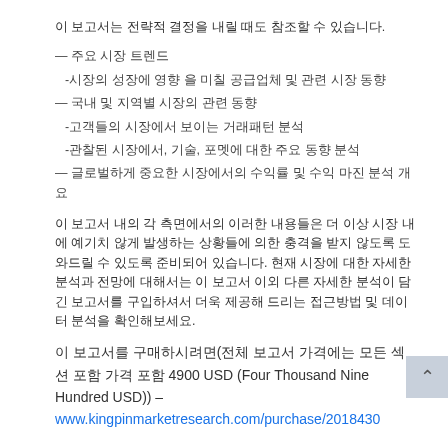이 보고서는 전략적 결정을 내릴 때도 참조할 수 있습니다.
— 주요 시장 트렌드
-시장의 성장에 영향 을 미칠 공급업체 및 관련 시장 동향
— 국내 및 지역별 시장의 관련 동향
-고객들의 시장에서 보이는 거래패턴 분석
-관찰된 시장에서, 기술, 포멧에 대한 주요 동향 분석
— 글로벌하게 중요한 시장에서의 수익률 및 수익 마진 분석 개요
이 보고서 내의 각 측면에서의 이러한 내용들은 더 이상 시장 내에 예기치 않게 발생하는 상황들에 의한 충격을 받지 않도록 도와드릴 수 있도록 준비되어 있습니다. 현재 시장에 대한 자세한 분석과 전망에 대해서는 이 보고서 이외 다른 자세한 분석이 담긴 보고서를 구입하셔서 더욱 제공해 드리는 접근방법 및 데이터 분석을 확인해보세요.
이 보고서를 구매하시려면(전체 보고서 가격에는 모든 섹션 포함 가격 포함 4900 USD (Four Thousand Nine Hundred USD)) – www.kingpinmarketresearch.com/purchase/2018430